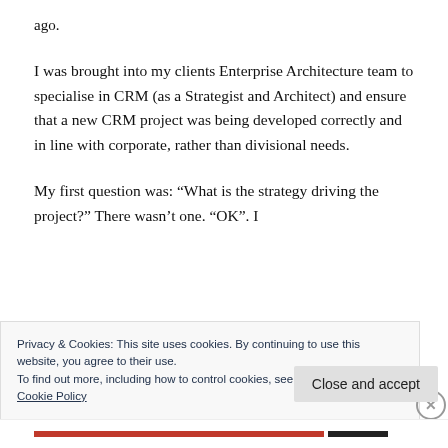ago.
I was brought into my clients Enterprise Architecture team to specialise in CRM (as a Strategist and Architect) and ensure that a new CRM project was being developed correctly and in line with corporate, rather than divisional needs.
My first question was: “What is the strategy driving the project?” There wasn’t one. “OK”. I
Privacy & Cookies: This site uses cookies. By continuing to use this website, you agree to their use.
To find out more, including how to control cookies, see here:
Cookie Policy
Close and accept